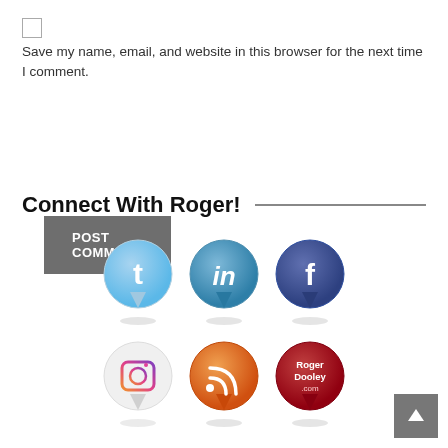Save my name, email, and website in this browser for the next time I comment.
POST COMMENT
Connect With Roger!
[Figure (illustration): Six social media icon pin bubbles arranged in two rows: Twitter, LinkedIn, Facebook (top row); Instagram, RSS, RogerDooley.com (bottom row)]